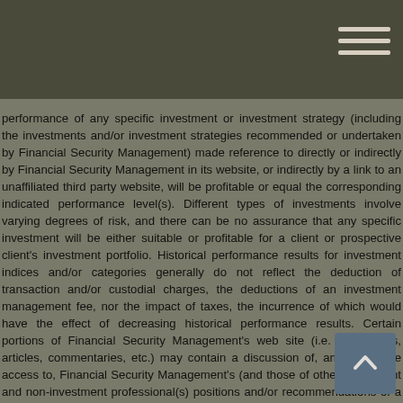performance of any specific investment or investment strategy (including the investments and/or investment strategies recommended or undertaken by Financial Security Management) made reference to directly or indirectly by Financial Security Management in its website, or indirectly by a link to an unaffiliated third party website, will be profitable or equal the corresponding indicated performance level(s). Different types of investments involve varying degrees of risk, and there can be no assurance that any specific investment will be either suitable or profitable for a client or prospective client's investment portfolio. Historical performance results for investment indices and/or categories generally do not reflect the deduction of transaction and/or custodial charges, the deductions of an investment management fee, nor the impact of taxes, the incurrence of which would have the effect of decreasing historical performance results. Certain portions of Financial Security Management's web site (i.e. newsletters, articles, commentaries, etc.) may contain a discussion of, and/or provide access to, Financial Security Management's (and those of other investment and non-investment professional(s) positions and/or recommendations of a specific prior date. Due to various factors, including changing market conditions, such discussion may no longer be reflective of current position(s) and/or recommendation(s). Moreover, no client or prospective client should assume that any such discussion serves as the receipt of, or a substitute for, personalized advice from Financial Security Management, or from any other investment professional. Financial Security Management is neither an attorney nor an accountant, and no portion of the web site content should be interpreted as legal,